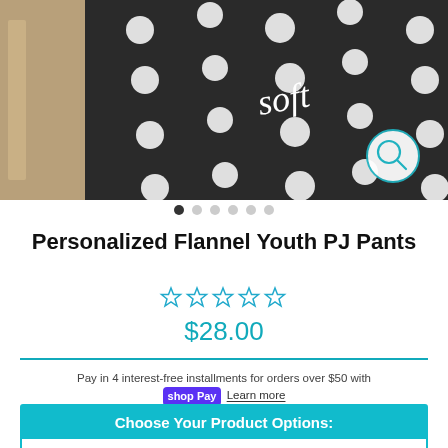[Figure (photo): Black polka dot fabric on a wooden surface, partially visible product photo of flannel PJ pants with cursive lettering and a zoom magnifier icon in the top-right corner]
• • • • • •  (carousel dots with first active)
Personalized Flannel Youth PJ Pants
☆ ☆ ☆ ☆ ☆ (5 empty stars in teal)
$28.00
Pay in 4 interest-free installments for orders over $50 with shop Pay Learn more
Choose Your Product Options:
Pant Color *:
--Choose Pant Color--